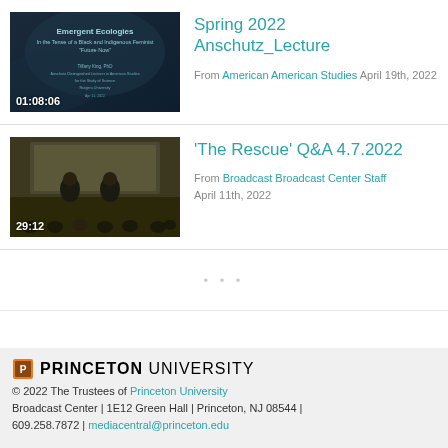[Figure (screenshot): Video thumbnail for Spring 2022 Anschutz_Lecture showing a dark slide with text 'Emergent Ecologies In the Tense of a Black and Indigenous Feminist Future Now', duration 01:08:06]
Spring 2022 Anschutz_Lecture
From American American Studies April 19th, 2022
[Figure (screenshot): Video thumbnail showing two people seated on stage in a darkened auditorium with audience, duration 29:12]
'The Rescue' Q&A 4.7.2022
From Broadcast Broadcast Center Staff April 11th, 2022
PRINCETON UNIVERSITY © 2022 The Trustees of Princeton University Broadcast Center | 1E12 Green Hall | Princeton, NJ 08544 | 609.258.7872 | mediacentral@princeton.edu